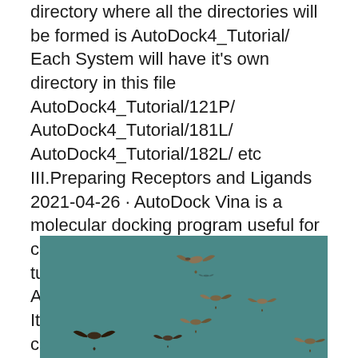directory where all the directories will be formed is AutoDock4_Tutorial/ Each System will have it's own directory in this file AutoDock4_Tutorial/121P/ AutoDock4_Tutorial/181L/ AutoDock4_Tutorial/182L/ etc III.Preparing Receptors and Ligands 2021-04-26 · AutoDock Vina is a molecular docking program useful for computer aided drug design. In this tutorial, we will learn how to run AutoDock Vina on OSG. Tutorial Files. It is easiest to start with the tutorial command.
[Figure (photo): Photo of multiple birds flying against a teal/dark cyan sky background, viewed from below]